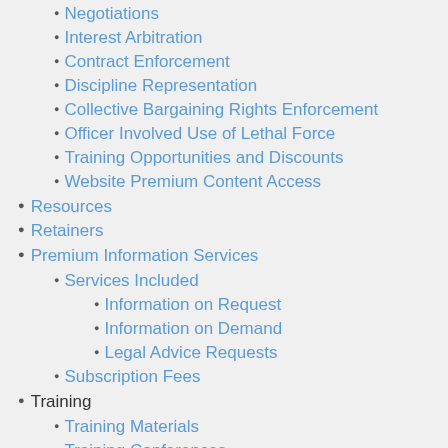Negotiations
Interest Arbitration
Contract Enforcement
Discipline Representation
Collective Bargaining Rights Enforcement
Officer Involved Use of Lethal Force
Training Opportunities and Discounts
Website Premium Content Access
Resources
Retainers
Premium Information Services
Services Included
Information on Request
Information on Demand
Legal Advice Requests
Subscription Fees
Training
Training Materials
Training Conferences
Officer Rights Cards
Books for Sale